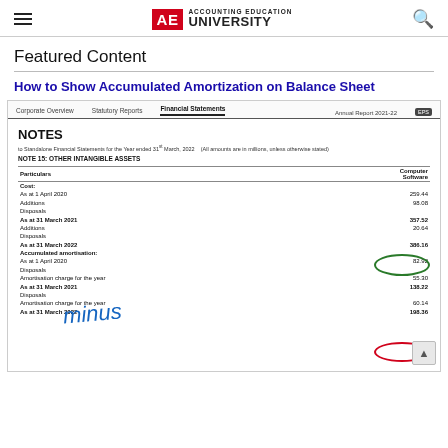AE ACCOUNTING EDUCATION UNIVERSITY
Featured Content
How to Show Accumulated Amortization on Balance Sheet
[Figure (photo): Screenshot of a financial report page showing NOTES to Standalone Financial Statements for the Year ended 31st March 2022. Shows NOTE 15: OTHER INTANGIBLE ASSETS table with Particulars and Computer Software columns. Data includes Cost entries: As at 1 April 2020 (259.44), As at 31 March 2021 (357.52), As at 31 March 2022 (386.16 circled in green). Accumulated amortisation entries: As at 1 April 2020 (82.92), Amortisation charge for the year (55.30), As at 31 March 2021 (138.22), As at 31 March 2022 (198.36 circled in red). Handwritten 'minus' in blue and annotations visible.]